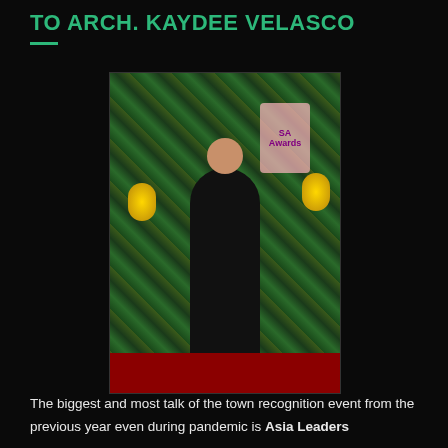TO ARCH. KAYDEE VELASCO
[Figure (photo): A woman in a black sequined gown standing on a red carpet in front of a lush green plant wall backdrop with golden lanterns and an 'SA Awards' sign.]
The biggest and most talk of the town recognition event from the previous year even during pandemic is Asia Leaders